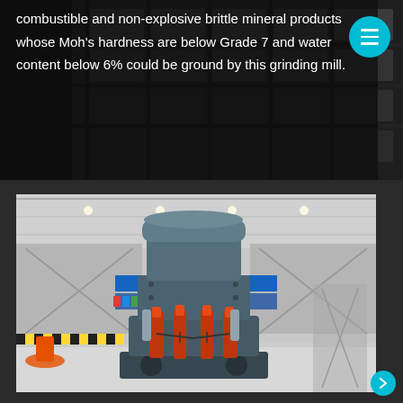pendulous hanging grinding mill - MTW grinding mill. All non-combustible and non-explosive brittle mineral products whose Moh's hardness are below Grade 7 and water content below 6% could be ground by this grinding mill.
[Figure (photo): Industrial grinding mill machine displayed in a large exhibition hall or factory floor. The machine is grey/dark colored with orange hydraulic cylinders and is mounted on a heavy base with circular openings. International flags and banners visible in the background.]